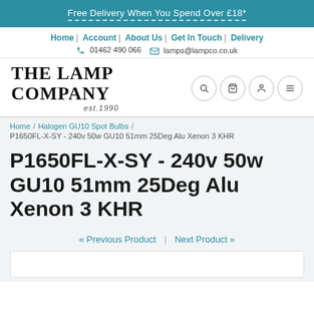Free Delivery When You Spend Over £18*
Home | Account | About Us | Get In Touch | Delivery
01462 490 066  lamps@lampco.co.uk
[Figure (logo): The Lamp Company logo with text 'THE LAMP COMPANY est.1990' alongside circular icon buttons for search, cart, account, and menu]
Home / Halogen GU10 Spot Bulbs / P1650FL-X-SY - 240v 50w GU10 51mm 25Deg Alu Xenon 3 KHR
P1650FL-X-SY - 240v 50w GU10 51mm 25Deg Alu Xenon 3 KHR
« Previous Product  |  Next Product »